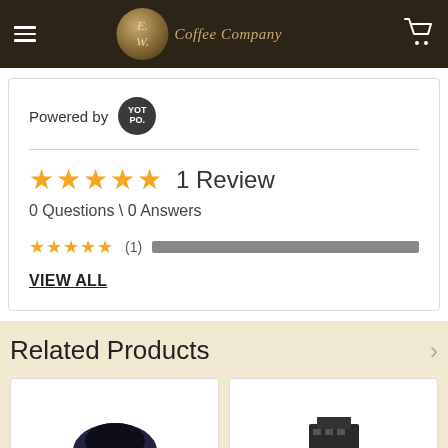E.W. Coffee Company
Powered by YOTPO
1 Review
0 Questions \ 0 Answers
★★★★★ (1) VIEW ALL
Related Products
[Figure (photo): Two product images in white cards on beige background]
VIEW ALL